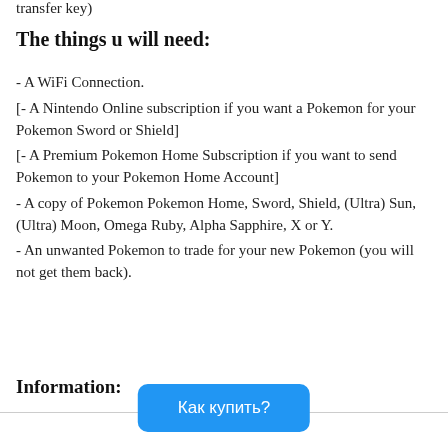transfer key)
The things u will need:
- A WiFi Connection.
[- A Nintendo Online subscription if you want a Pokemon for your Pokemon Sword or Shield]
[- A Premium Pokemon Home Subscription if you want to send Pokemon to your Pokemon Home Account]
- A copy of Pokemon Pokemon Home, Sword, Shield, (Ultra) Sun, (Ultra) Moon, Omega Ruby, Alpha Sapphire, X or Y.
- An unwanted Pokemon to trade for your new Pokemon (you will not get them back).
Information: